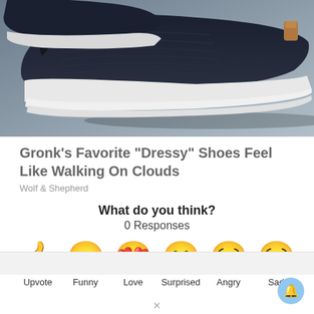[Figure (photo): Close-up photo of a dark navy/black slip-on dress shoe with white sole, on a gray surface]
Gronk's Favorite "Dressy" Shoes Feel Like Walking On Clouds
Wolf & Shepherd
What do you think?
0 Responses
[Figure (infographic): Six reaction emoji icons with labels: Upvote (thumbs up), Funny (laughing face with tongue), Love (heart eyes face), Surprised (surprised face), Angry (crying/angry face), Sad (sad face with tear)]